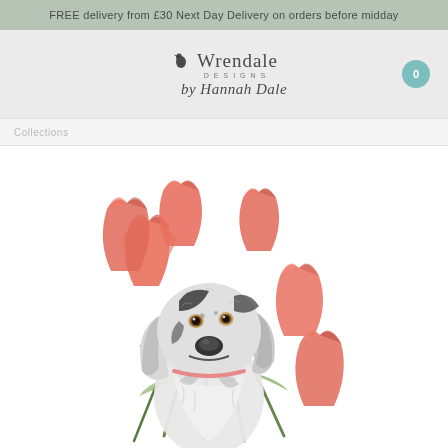FREE delivery from £30 Next Day Delivery on orders before midday
[Figure (logo): Wrendale Designs by Hannah Dale logo with bird icon]
Collections
[Figure (illustration): Watercolour illustration of a black and white spaniel dog holding a bouquet of pink/red tulips in its mouth]